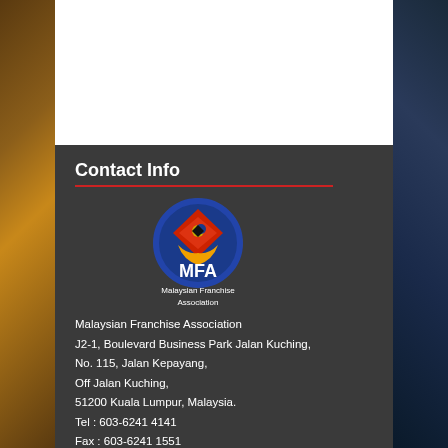Contact Info
[Figure (logo): Malaysian Franchise Association (MFA) circular logo with eagle and crescent motif, with text 'MFA' and 'Malaysian Franchise Association' below]
Malaysian Franchise Association
J2-1, Boulevard Business Park Jalan Kuching,
No. 115, Jalan Kepayang,
Off Jalan Kuching,
51200 Kuala Lumpur, Malaysia.
Tel : 603-6241 4141
Fax : 603-6241 1551
E-mail : secrtmfa@mfa.org.my